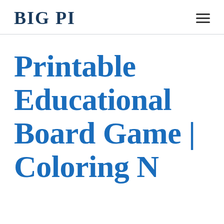BIG PI
Printable Educational Board Game | Coloring N...